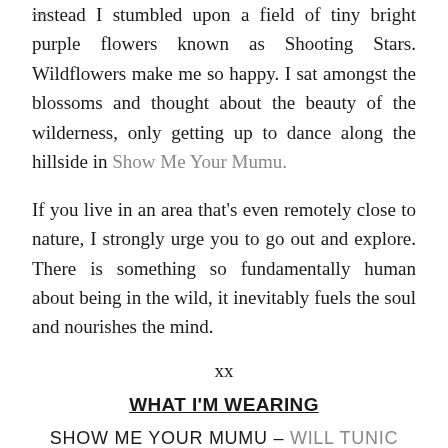instead I stumbled upon a field of tiny bright purple flowers known as Shooting Stars. Wildflowers make me so happy. I sat amongst the blossoms and thought about the beauty of the wilderness, only getting up to dance along the hillside in Show Me Your Mumu.

If you live in an area that's even remotely close to nature, I strongly urge you to go out and explore. There is something so fundamentally human about being in the wild, it inevitably fuels the soul and nourishes the mind.
xx
WHAT I'M WEARING
SHOW ME YOUR MUMU – WILL TUNIC
TORCHLIGHT JEWELRY – ALULQUOY RING
BAHGSU JEWELS – MEDICINE WHEEL CUFF
BAHGSU JEWELS – FLOWER OF LIFE CUFF